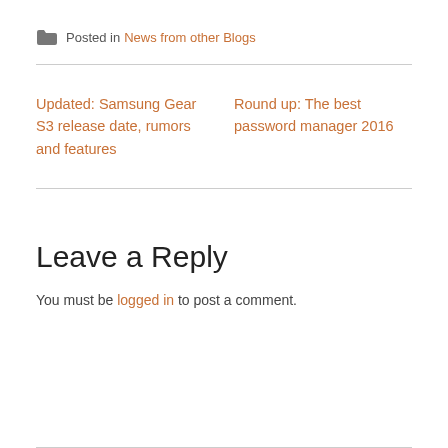Posted in News from other Blogs
Updated: Samsung Gear S3 release date, rumors and features
Round up: The best password manager 2016
Leave a Reply
You must be logged in to post a comment.